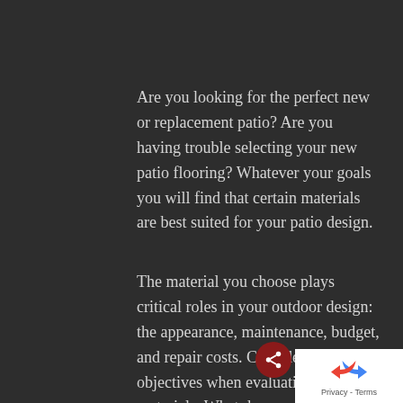Are you looking for the perfect new or replacement patio?  Are you having trouble selecting your new patio flooring?  Whatever your goals you will find that certain materials are best suited for your patio design.
The material you choose plays critical roles in your outdoor design: the appearance, maintenance, budget, and repair costs.  Consider your objectives when evaluating materials.  What do you want your outdoor design to look like?  Would you prefer durability? What is your budget?  What